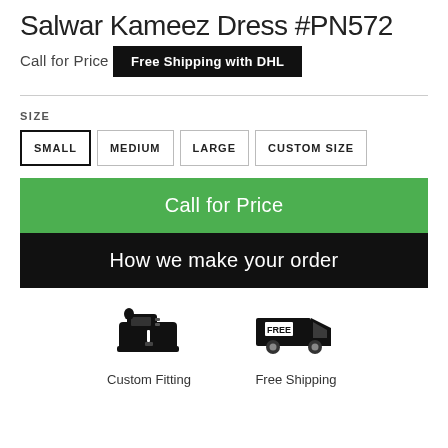Salwar Kameez Dress #PN572
Call for Price
Free Shipping with DHL
SIZE
SMALL  MEDIUM  LARGE  CUSTOM SIZE
Call for Price
How we make your order
[Figure (illustration): Sewing machine icon]
Custom Fitting
[Figure (illustration): Delivery truck with FREE label icon]
Free Shipping